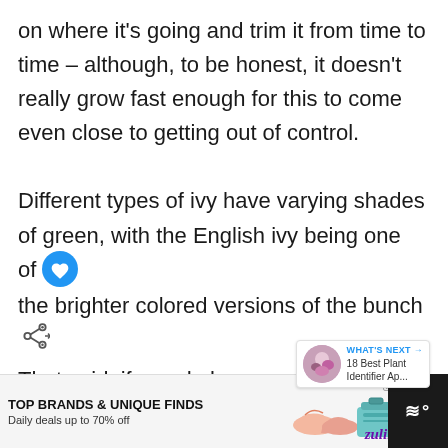on where it's going and trim it from time to time – although, to be honest, it doesn't really grow fast enough for this to come even close to getting out of control.

Different types of ivy have varying shades of green, with the English ivy being one of the brighter colored versions of the bunch. That said, if you do keep your plant in an office with no windows, the green won't be
[Figure (screenshot): Advertisement banner: TOP BRANDS & UNIQUE FINDS - Daily deals up to 70% off - Zulily brand with product images of shoes and a bag]